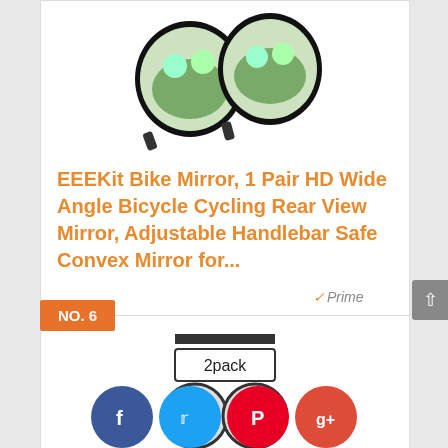[Figure (photo): Product image of two round bike mirrors with cyclists reflected]
EEEKit Bike Mirror, 1 Pair HD Wide Angle Bicycle Cycling Rear View Mirror, Adjustable Handlebar Safe Convex Mirror for...
[Figure (logo): Amazon Prime checkmark and Prime logo badge]
Check The Price on Amazon
NO. 6
[Figure (photo): Product image bottom of page showing 2pack label on bike mirror]
[Figure (infographic): Social share buttons: Facebook, Twitter, Pinterest, Google+]